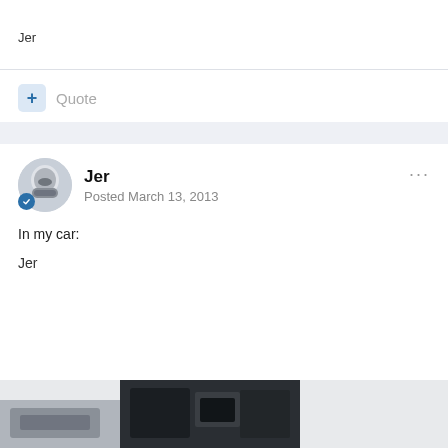Jer
+ Quote
Jer
Posted March 13, 2013
In my car:
Jer
[Figure (photo): Partial view of car interior photo at bottom of page]